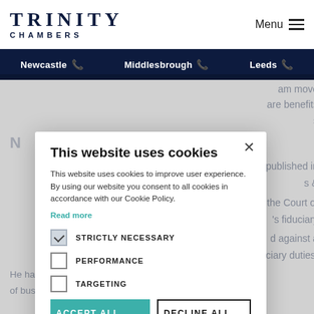TRINITY CHAMBERS | Menu
Newcastle | Middlesbrough | Leeds
am move are benefits s
N
k, published in s & the Court of 's fiduciary d against a iciary duties. He has acted recently in cases involving the diversion of business opportunities, the allegedly unlawful
This website uses cookies

This website uses cookies to improve user experience. By using our website you consent to all cookies in accordance with our Cookie Policy.

Read more

STRICTLY NECESSARY
PERFORMANCE
TARGETING

ACCEPT ALL | DECLINE ALL

SHOW DETAILS